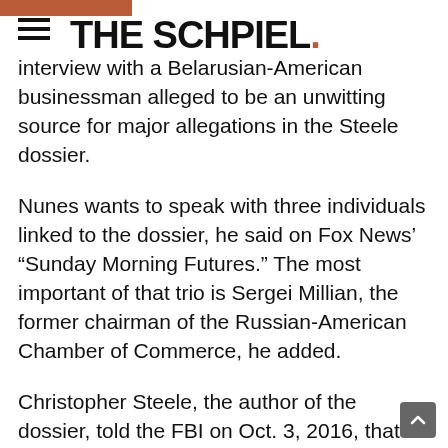THE SCHPIEL.
interview with a Belarusian-American businessman alleged to be an unwitting source for major allegations in the Steele dossier.
Nunes wants to speak with three individuals linked to the dossier, he said on Fox News’ “Sunday Morning Futures.” The most important of that trio is Sergei Millian, the former chairman of the Russian-American Chamber of Commerce, he added.
Christopher Steele, the author of the dossier, told the FBI on Oct. 3, 2016, that Millian was an unwitting sub-source for several bombshell allegations made in the dossier. Steele also told investigators that Millian